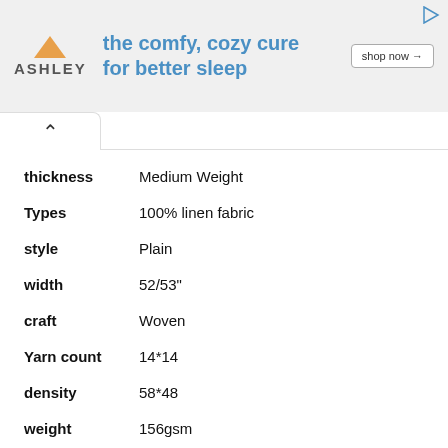[Figure (other): Ashley Furniture advertisement banner: orange house logo, text 'the comfy, cozy cure for better sleep', 'shop now' button]
| Attribute | Value |
| --- | --- |
| thickness | Medium Weight |
| Types | 100% linen fabric |
| style | Plain |
| width | 52/53" |
| craft | Woven |
| Yarn count | 14*14 |
| density | 58*48 |
| weight | 156gsm |
| model | S1115 |